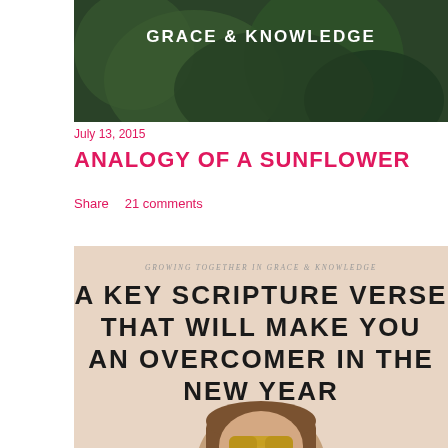[Figure (photo): Blog header image with dark green leafy background and white bold text reading GRACE & KNOWLEDGE]
July 13, 2015
ANALOGY OF A SUNFLOWER
Share    21 comments
[Figure (infographic): Promotional image with peach/beige background, italic subtitle GROWING TOGETHER IN GRACE & KNOWLEDGE, bold uppercase text A KEY SCRIPTURE VERSE THAT WILL MAKE YOU AN OVERCOMER IN THE NEW YEAR, and a person with sunglasses at the bottom]